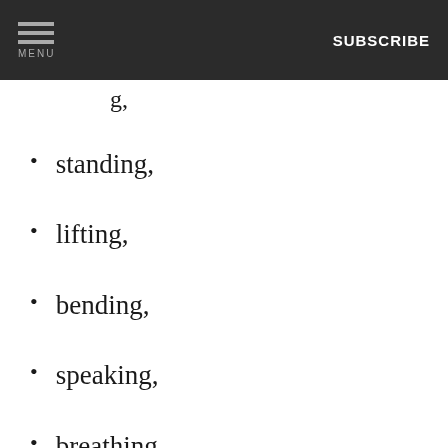MENU | SUBSCRIBE
standing,
lifting,
bending,
speaking,
breathing,